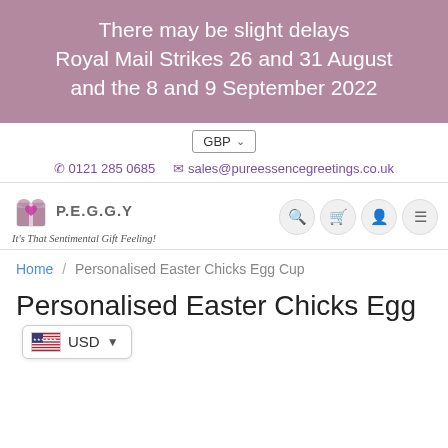There may be slight delays Royal Mail Strikes 26 and 31 August and the 8 and 9 September 2022
GBP
0121 285 0685   sales@pureessencegreetings.co.uk
[Figure (logo): P.E.G.G.Y logo with gift box icon and tagline It's That Sentimental Gift Feeling!]
Home / Personalised Easter Chicks Egg Cup
Personalised Easter Chicks Egg
USD